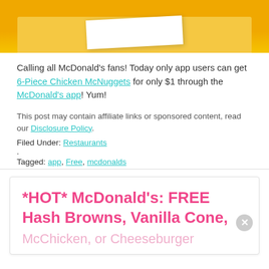[Figure (photo): Top portion of a McDonald's promotional image with yellow/orange background and white paper element]
Calling all McDonald's fans! Today only app users can get 6-Piece Chicken McNuggets for only $1 through the McDonald's app! Yum!
This post may contain affiliate links or sponsored content, read our Disclosure Policy.
Filed Under: Restaurants
.
Tagged: app, Free, mcdonalds
[Figure (screenshot): Promotional card for McDonald's deal: *HOT* McDonald's: FREE Hash Browns, Vanilla Cone, McChicken, or Cheeseburger with a pink close button]